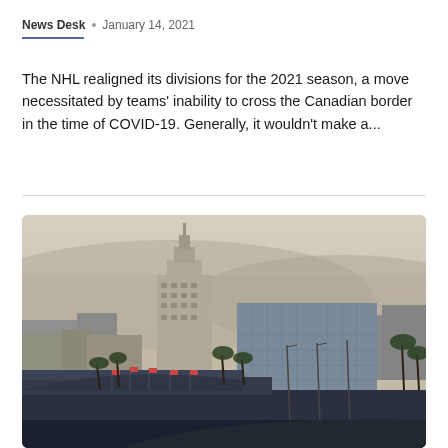News Desk • January 14, 2021
The NHL realigned its divisions for the 2021 season, a move necessitated by teams' inability to cross the Canadian border in the time of COVID-19. Generally, it wouldn't make a...
[Figure (photo): Aerial cityscape view of Los Angeles showing City Hall building in center, palm trees, stadium structure in foreground, hazy sky background]